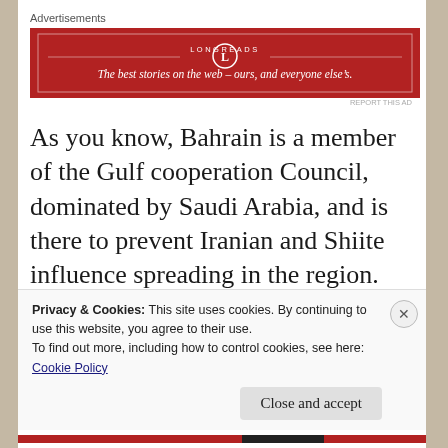Advertisements
[Figure (other): Longreads advertisement banner with red background. Logo circle with 'L', text 'LONGREADS', tagline: 'The best stories on the web — ours, and everyone else's.']
REPORT THIS AD
As you know, Bahrain is a member of the Gulf cooperation Council, dominated by Saudi Arabia, and is there to prevent Iranian and Shiite influence spreading in the region. Bahrainis also the base of the US Navy's Fifth Fleet, which is so important for America's strategy in the
Privacy & Cookies: This site uses cookies. By continuing to use this website, you agree to their use.
To find out more, including how to control cookies, see here:
Cookie Policy
Close and accept